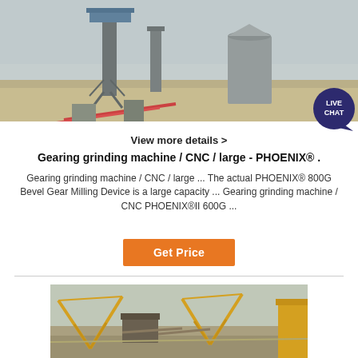[Figure (photo): Industrial facility with large equipment, towers, and silos visible in misty/foggy conditions]
View more details >
Gearing grinding machine / CNC / large - PHOENIX® .
Gearing grinding machine / CNC / large ... The actual PHOENIX® 800G Bevel Gear Milling Device is a large capacity ... Gearing grinding machine / CNC PHOENIX®II 600G ...
Get Price
[Figure (photo): Large industrial machinery with yellow cranes and conveyor systems at a quarry or mining site]